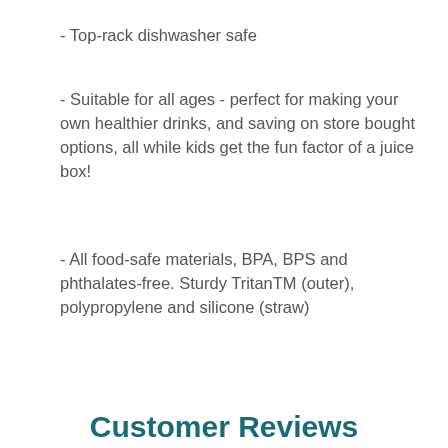- Top-rack dishwasher safe
- Suitable for all ages - perfect for making your own healthier drinks, and saving on store bought options, all while kids get the fun factor of a juice box!
- All food-safe materials, BPA, BPS and phthalates-free. Sturdy TritanTM (outer), polypropylene and silicone (straw)
Customer Reviews